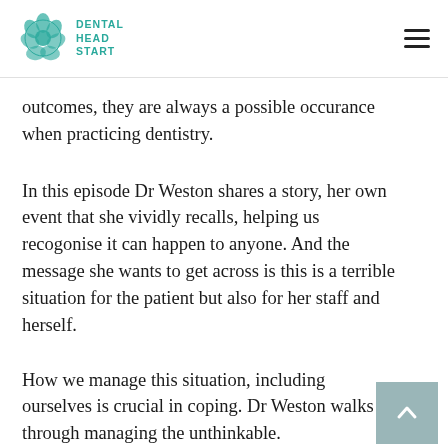DENTAL HEAD START
outcomes, they are always a possible occurance when practicing dentistry.
In this episode Dr Weston shares a story, her own event that she vividly recalls, helping us recogonise it can happen to anyone. And the message she wants to get across is this is a terrible situation for the patient but also for her staff and herself.
How we manage this situation, including ourselves is crucial in coping. Dr Weston walks us through managing the unthinkable.